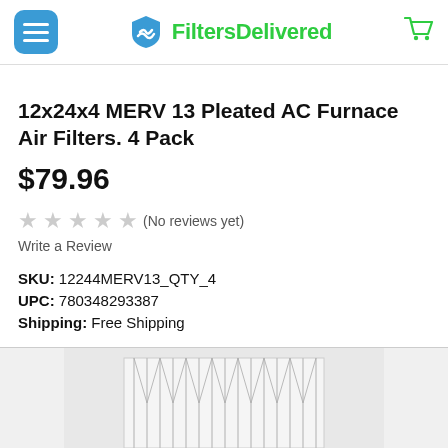FiltersDelivered
12x24x4 MERV 13 Pleated AC Furnace Air Filters. 4 Pack
$79.96
(No reviews yet)
Write a Review
SKU: 12244MERV13_QTY_4
UPC: 780348293387
Shipping: Free Shipping
[Figure (photo): Product image of 12x24x4 MERV 13 Pleated AC Furnace Air Filter showing pleated filter material, partially visible at bottom of page]